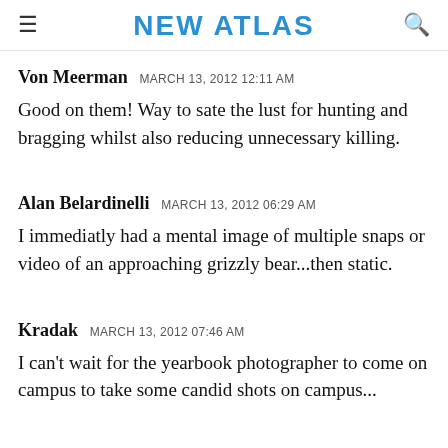NEW ATLAS
Von Meerman   MARCH 13, 2012 12:11 AM
Good on them! Way to sate the lust for hunting and bragging whilst also reducing unnecessary killing.
Alan Belardinelli   MARCH 13, 2012 06:29 AM
I immediatly had a mental image of multiple snaps or video of an approaching grizzly bear...then static.
Kradak   MARCH 13, 2012 07:46 AM
I can't wait for the yearbook photographer to come on campus to take some candid shots on campus...